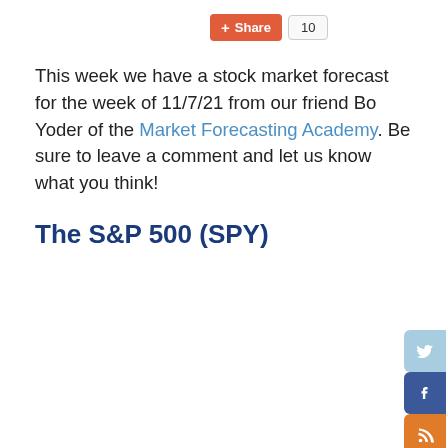[Figure (other): Share button (orange) with count badge showing 10]
This week we have a stock market forecast for the week of 11/7/21 from our friend Bo Yoder of the Market Forecasting Academy. Be sure to leave a comment and let us know what you think!
The S&P 500 (SPY)
[Figure (other): Social media sidebar icons: Twitter, Facebook, RSS, Google+, Email]